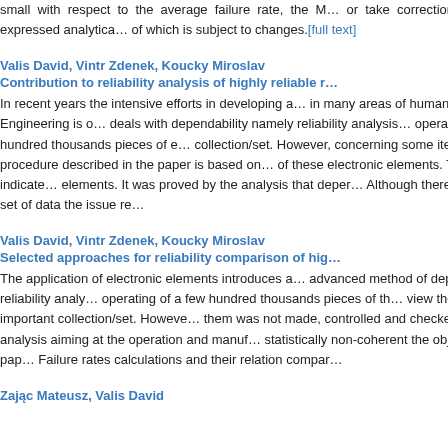small with respect to the average failure rate, the M... or take corrections that can be expressed analytica... of which is subject to changes.[full text]
Valis David, Vintr Zdenek, Koucky Miroslav
Contribution to reliability analysis of highly reliable ...
In recent years the intensive efforts in developing a... in many areas of human activity. Engineering is o... deals with dependability namely reliability analysis... operating of a few hundred thousands pieces of e... collection/set. However, concerning some items th... The procedure described in the paper is based on... of these electronic elements. The results indicate... elements. It was proved by the analysis that deper... Although there is a quite big set of data the issue re...
Valis David, Vintr Zdenek, Koucky Miroslav
Selected approaches for reliability comparison of hig...
The application of electronic elements introduces a... advanced method of dependability - reliability analy... operating of a few hundred thousands pieces of th... view they are very important collection/set. Howeve... them was not made, controlled and checked accu... data analysis aiming at the operation and manuf... statistically non-coherent the objective of the pap... Failure rates calculations and their relation compar...
Zajac Mateusz, Valis David